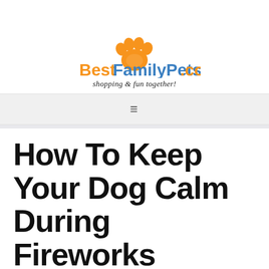[Figure (logo): BestFamilyPets.com logo with orange paw print above and orange/blue text reading BestFamilyPets.com, with tagline 'shopping & fun together!' below]
≡
How To Keep Your Dog Calm During Fireworks
by Best Family Pets